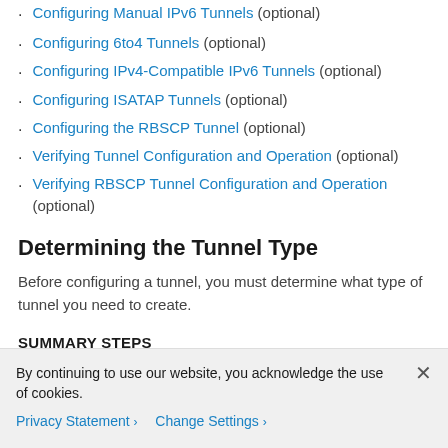Configuring Manual IPv6 Tunnels (optional)
Configuring 6to4 Tunnels (optional)
Configuring IPv4-Compatible IPv6 Tunnels (optional)
Configuring ISATAP Tunnels (optional)
Configuring the RBSCP Tunnel (optional)
Verifying Tunnel Configuration and Operation (optional)
Verifying RBSCP Tunnel Configuration and Operation (optional)
Determining the Tunnel Type
Before configuring a tunnel, you must determine what type of tunnel you need to create.
SUMMARY STEPS
By continuing to use our website, you acknowledge the use of cookies.
Privacy Statement > Change Settings >